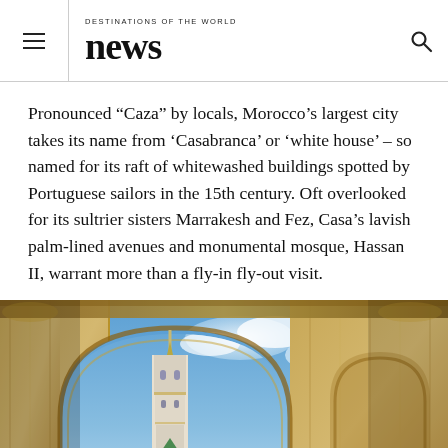DESTINATIONS OF THE WORLD news
Pronounced “Caza” by locals, Morocco’s largest city takes its name from ‘Casabranca’ or ‘white house’ – so named for its raft of whitewashed buildings spotted by Portuguese sailors in the 15th century. Oft overlooked for its sultrier sisters Marrakesh and Fez, Casa’s lavish palm-lined avenues and monumental mosque, Hassan II, warrant more than a fly-in fly-out visit.
[Figure (photo): View from beneath ornate Moroccan arches looking up at the Hassan II mosque minaret against a blue sky with clouds. Golden stone columns and decorated ceilings frame the shot.]